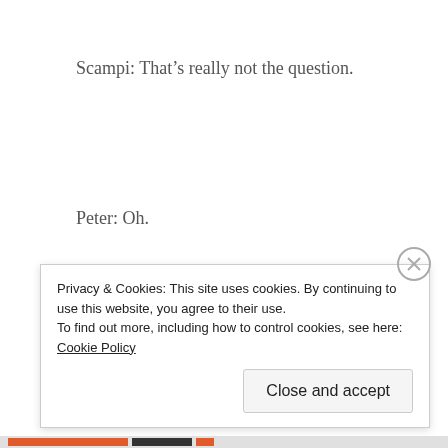Scampi: That’s really not the question.
Peter: Oh.
Scampi: [grandly]  Yes.
Privacy & Cookies: This site uses cookies. By continuing to use this website, you agree to their use.
To find out more, including how to control cookies, see here: Cookie Policy
Close and accept